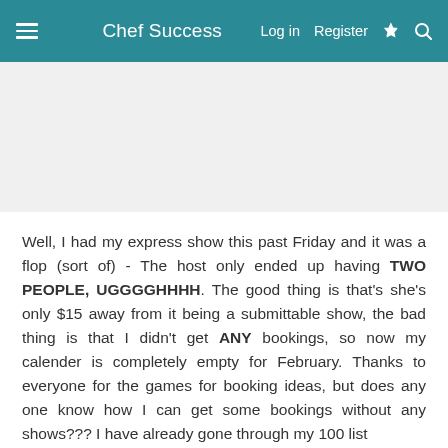Chef Success | Log in | Register
[Figure (other): Advertisement banner area, white/gray background]
Well, I had my express show this past Friday and it was a flop (sort of) - The host only ended up having TWO PEOPLE, UGGGGHHHH. The good thing is that's she's only $15 away from it being a submittable show, the bad thing is that I didn't get ANY bookings, so now my calender is completely empty for February. Thanks to everyone for the games for booking ideas, but does any one know how I can get some bookings without any shows??? I have already gone through my 100 list